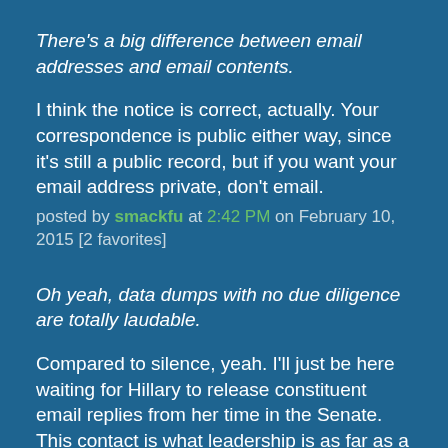There's a big difference between email addresses and email contents.
I think the notice is correct, actually. Your correspondence is public either way, since it's still a public record, but if you want your email address private, don't email.
posted by smackfu at 2:42 PM on February 10, 2015 [2 favorites]
Oh yeah, data dumps with no due diligence are totally laudable.
Compared to silence, yeah. I'll just be here waiting for Hillary to release constituent email replies from her time in the Senate. This contact is what leadership is as far as a lot of people are concerned. I vote for a Republican state senator in my district year after year because he delivered excellent constituent services to me. it's what the job is really all